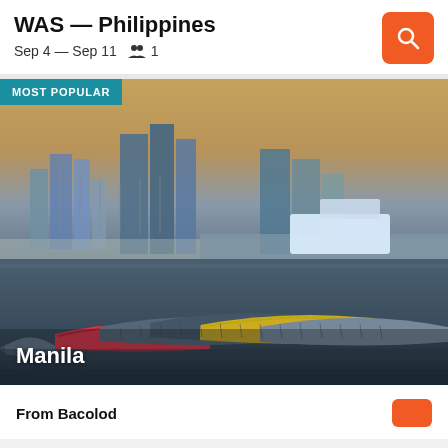WAS — Philippines
Sep 4 — Sep 11   👥 1
[Figure (photo): Manila harbor with traditional colorful outrigger boats in the foreground and city skyline with high-rise buildings in the background, golden sunset light reflecting on the water. Badge reads MOST POPULAR. City label reads Manila.]
From Bacolod